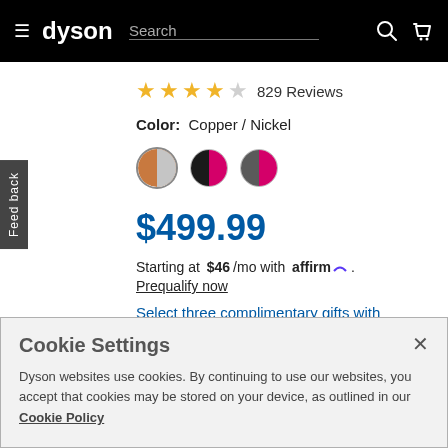dyson | Search
★★★★☆ 829 Reviews
Color: Copper / Nickel
[Figure (other): Three color swatches: Copper/Nickel (selected), Black/Pink, Grey/Pink]
$499.99
Starting at $46/mo with affirm. Prequalify now
Select three complimentary gifts with purchase.
Learn more
Cookie Settings
Dyson websites use cookies. By continuing to use our websites, you accept that cookies may be stored on your device, as outlined in our Cookie Policy